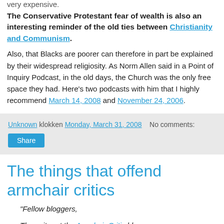very expensive.
The Conservative Protestant fear of wealth is also an interesting reminder of the old ties between Christianity and Communism.
Also, that Blacks are poorer can therefore in part be explained by their widespread religiosity. As Norm Allen said in a Point of Inquiry Podcast, in the old days, the Church was the only free space they had. Here's two podcasts with him that I highly recommend March 14, 2008 and November 24, 2006.
Unknown klokken Monday, March 31, 2008   No comments:
Share
The things that offend armchair critics
"Fellow bloggers,
The writer at the Armchair Critic blog says